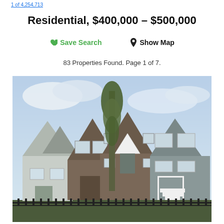1 of 4,254,713
Residential, $400,000 – $500,000
♥ Save Search   📍 Show Map
83 Properties Found. Page 1 of 7.
[Figure (photo): Exterior photo of a row of residential townhouses with Victorian-style pointed roofs, brown shingle siding, white trim, and a tall tree in the center foreground. Iron fence in foreground.]